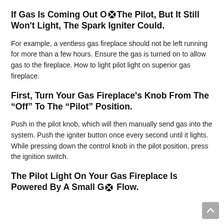If Gas Is Coming Out Of The Pilot, But It Still Won't Light, The Spark Igniter Could.
For example, a ventless gas fireplace should not be left running for more than a few hours. Ensure the gas is turned on to allow gas to the fireplace. How to light pilot light on superior gas fireplace.
First, Turn Your Gas Fireplace's Knob From The “Off” To The “Pilot” Position.
Push in the pilot knob, which will then manually send gas into the system. Push the igniter button once every second until it lights. While pressing down the control knob in the pilot position, press the ignition switch.
The Pilot Light On Your Gas Fireplace Is Powered By A Small Gas Flow.